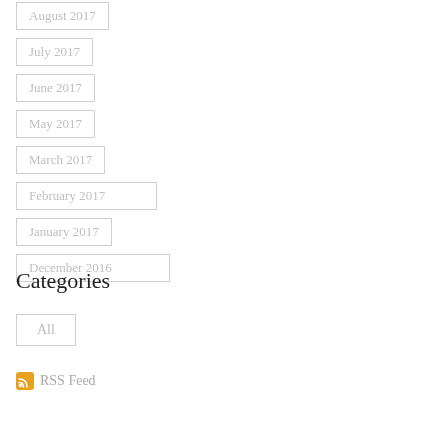August 2017
July 2017
June 2017
May 2017
March 2017
February 2017
January 2017
December 2016
Categories
All
RSS Feed